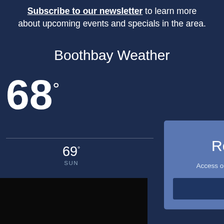Subscribe to our newsletter to learn more about upcoming events and specials in the area.
Boothbay Weather
68°
69° SUN
[Figure (screenshot): Modal popup overlay on dark blue website background showing 'Request our Boothbay Harbor Vacation Guide' with text and a 'Get the Guide >' button]
Request our Boothbay Harbor Vacation Guide
Access our free vacation guide for Boothbay Harbor's best-kept secrets, local tips, and must-see attractions!
Get the Guide >